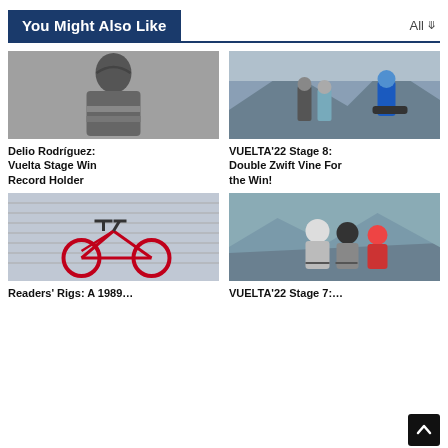You Might Also Like
[Figure (photo): Black and white photo of Delio Rodríguez, a cyclist, standing in front of a stone wall wearing a cycling jersey]
[Figure (photo): Color photo of cyclists racing at VUELTA 2022 Stage 8, with support staff alongside on a mountain road]
Delio Rodríguez: Vuelta Stage Win Record Holder
VUELTA'22 Stage 8: Double Zwift Vine For the Win!
[Figure (photo): Color photo of a red vintage road bicycle leaning against a wall with graffiti]
[Figure (photo): Color photo of cyclists racing in a group at VUELTA 2022 Stage 7]
Readers' Rigs: A 1989…
VUELTA'22 Stage 7:…